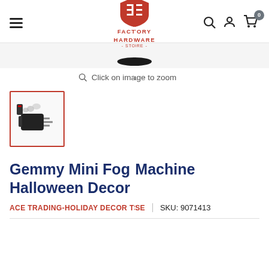Factory Hardware Store
[Figure (photo): Top of product image partially visible - dark oval/shadow shape at bottom of image area]
Click on image to zoom
[Figure (photo): Thumbnail of Gemmy Mini Fog Machine Halloween Decor product with red border]
Gemmy Mini Fog Machine Halloween Decor
ACE TRADING-HOLIDAY DECOR TSE  |  SKU: 9071413